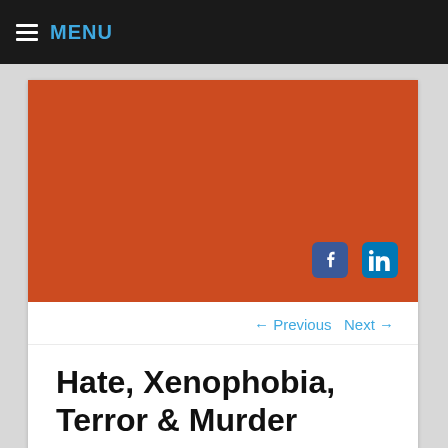MENU
[Figure (illustration): Orange/red-brown colored rectangular banner image with social media icons (Facebook and LinkedIn) in the lower right corner]
← Previous   Next →
Hate, Xenophobia, Terror & Murder